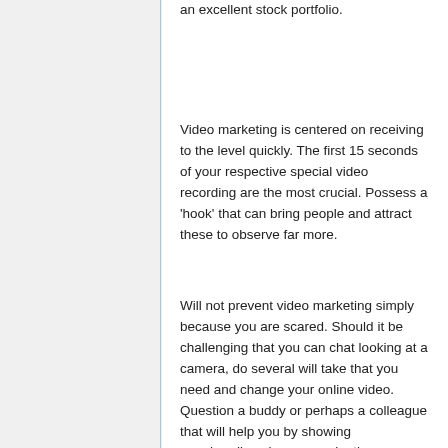an excellent stock portfolio.
Video marketing is centered on receiving to the level quickly. The first 15 seconds of your respective special video recording are the most crucial. Possess a 'hook' that can bring people and attract these to observe far more.
Will not prevent video marketing simply because you are scared. Should it be challenging that you can chat looking at a camera, do several will take that you need and change your online video. Question a buddy or perhaps a colleague that will help you by showing merchandise along or evaluating you.